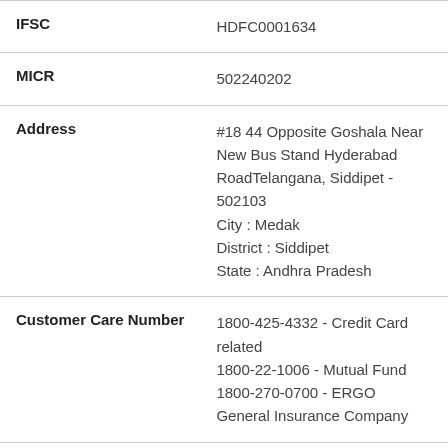| Field | Value |
| --- | --- |
| IFSC | HDFC0001634 |
| MICR | 502240202 |
| Address | #18 44 Opposite Goshala Near New Bus Stand Hyderabad RoadTelangana, Siddipet - 502103
City : Medak
District : Siddipet
State : Andhra Pradesh |
| Customer Care Number | 1800-425-4332 - Credit Card related
1800-22-1006 - Mutual Fund
1800-270-0700 - ERGO General Insurance Company |
| Fax | 08457-223333 |
| Locker Facility: | Yes |